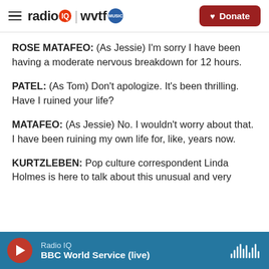radio IQ | wvtf MUSIC   Donate
ROSE MATAFEO: (As Jessie) I'm sorry I have been having a moderate nervous breakdown for 12 hours.
PATEL: (As Tom) Don't apologize. It's been thrilling. Have I ruined your life?
MATAFEO: (As Jessie) No. I wouldn't worry about that. I have been ruining my own life for, like, years now.
KURTZLEBEN: Pop culture correspondent Linda Holmes is here to talk about this unusual and very
Radio IQ   BBC World Service (live)